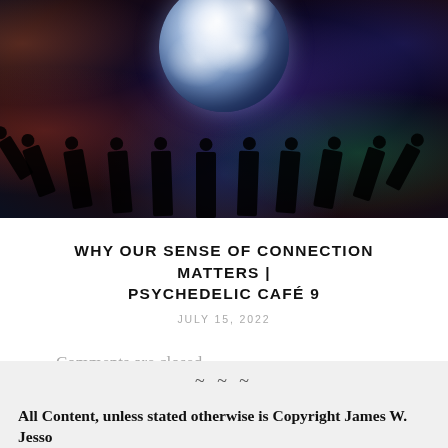[Figure (illustration): Digital art illustration showing the Earth globe from space surrounded by dark silhouetted human figures arranged in a circle, set against a colorful cosmic/nebula background with purples, reds, greens, and blues.]
WHY OUR SENSE OF CONNECTION MATTERS | PSYCHEDELIC CAFÉ 9
JULY 15, 2022
Comments are closed.
~ ~ ~
All Content, unless stated otherwise is Copyright James W. Jesso